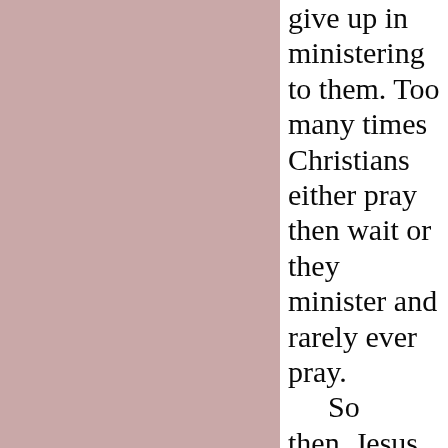and not give up in ministering to them. Too many times Christians either pray then wait or they minister and rarely ever pray. So then, Jesus is teaching us...